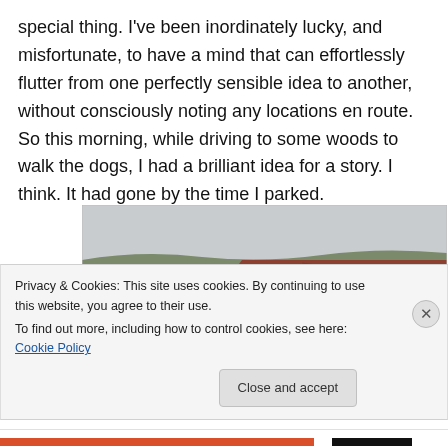special thing. I've been inordinately lucky, and misfortunate, to have a mind that can effortlessly flutter from one perfectly sensible idea to another, without consciously noting any locations en route. So this morning, while driving to some woods to walk the dogs, I had a brilliant idea for a story. I think. It had gone by the time I parked.
[Figure (photo): Aerial or elevated view of rolling farmland with patches of green grass and ploughed brown/red earth fields, divided by hedgerows, with bare trees visible in the valley and an overcast sky.]
Privacy & Cookies: This site uses cookies. By continuing to use this website, you agree to their use.
To find out more, including how to control cookies, see here: Cookie Policy